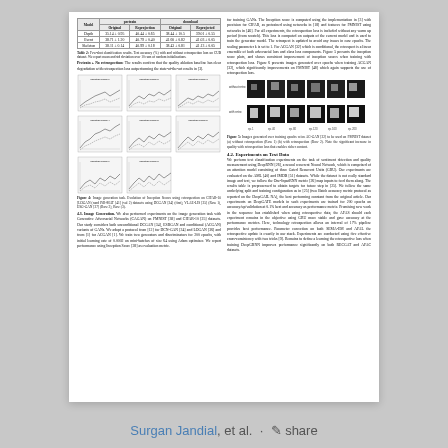| Model | pretrain | Reprojection | download | Reprojected |
| --- | --- | --- | --- | --- |
| Depth | 35.14 ± 0.95 | 40.44 ± 0.65 | 38.44 ± 10.5 | 39.01 ± 0.55 |
| Event | 38.71 ± 1.20 | 40.79 ± 0.40 | 41.60 ± 0.82 | 41.03 ± 0.05 |
| Skeleton | 38.11 ± 0.14 | 40.99 ± 0.18 | 38.43 ± 0.81 | 41.13 ± 0.05 |
Table 2: Few-shot classification results. Test accuracy (%) with and without retrospection loss on CUB dataset. We report mean and std deviation over 10 runs of random initializations.
Pretrain + No retrospection: The results confirm that the quality ablation baseline has clear degradation with retrospection loss outperforming the state-of-the-art results in [3].
[Figure (continuous-plot): 6-panel figure showing image generation task results: curves/plots for different datasets (CUB, FMNIST) showing performance comparisons with and without retrospection loss.]
Figure 4: Image generation task. Evolution of Inception Scores using retrospection on CIFAR-10 [LOGAN (rand PiRMAT [41] (val 2) datasets using DCGAN [34] (first), VLAE-LIS [35] (Row 1), ESG-GAN [37] (Row 2), Row (3).
4.3. Image Generation. We also performed experiments on the image generation task with Generative Adversarial Networks (CAGAN) on FMNIST [38] and CIFAR-10 [25] datasets. Our study considers both unconditional DCGAN [34], ESRGAN and conditional (ACGAN) variants of GANs. We adopt a protocol from [12] for DCN-GAN [34] and LOGAN [36] and from [1] for ACGAN [1]. We train two generators and discriminators for 200 epochs, with initial learning rate of 0.0002 on mini-batches of size 64 using Adam optimizer. We report performance using Inception Score [28] as evaluation metric.
[Figure (photo): Grid of images generated from binding epochs (rows: no retrospection, with retrospection) on FMNIST dataset, showing image quality comparison.]
Figure 5: Images generated over training epochs w/on AC-GAN [32] to be used on FMNIST dataset (a) without retrospection (Row 1) (b) with retrospection (Row 2). Note the significant increase in quality with retrospection loss that enables richer content.
4.2. Experiments on Text Data
We perform text classification experiments on the task of sentiment detection and quality measurement using DeepRNN [26], a neural recurrent Neural Network, which is comprised of an attention model consisting of three Gated Recurrent Units (GRU). Our experiments are evaluated on the AML [40] and IMDB [51] datasets. While the dataset is not really standard image and text, we follow the One-InputRNN metric [26] map inputs to feed them along. The results table is preprocessed to obtain targets for future step in [25]. We follow the same underlying split and training configuration as in [25] (two Batch accuracy metric protocol as reported on the DeepGAIL NA), the best performing constant from the original article. Our experiments on DeepGATE models in such experiments are trained for 200 epochs on accuracy/up/validation at 0.1% best and accuracy as performance metric. Promising new work in the sequence has established when using retrospective data, the AFAS should each experiment remains in the objective using GRU more stable and gave accuracy at the performance metrics. Here, technology retrospection allows an interval of 17% pipeline provides best performance. Parameter correction on both SEMA-EM and AFAL the retrospective update is exactly in our stack. Experiments are conducted using five effective cross-consistency with two tricks [9]. Remains to define a learning the retrospective loss when training DeepGRNN improves performance significantly on both RECGAT and AFAC datasets.